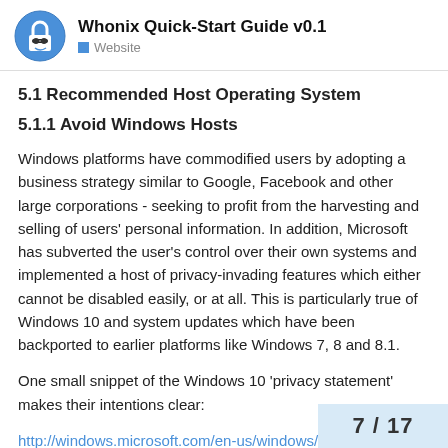Whonix Quick-Start Guide v0.1 — Website
5.1 Recommended Host Operating System
5.1.1 Avoid Windows Hosts
Windows platforms have commodified users by adopting a business strategy similar to Google, Facebook and other large corporations - seeking to profit from the harvesting and selling of users' personal information. In addition, Microsoft has subverted the user's control over their own systems and implemented a host of privacy-invading features which either cannot be disabled easily, or at all. This is particularly true of Windows 10 and system updates which have been backported to earlier platforms like Windows 7, 8 and 8.1.
One small snippet of the Windows 10 'privacy statement' makes their intentions clear:
http://windows.microsoft.com/en-us/windows/privacy-statement
7 / 17